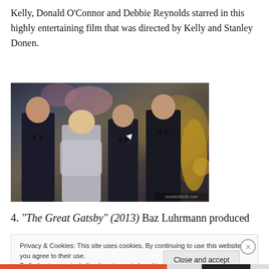Kelly, Donald O'Connor and Debbie Reynolds starred in this highly entertaining film that was directed by Kelly and Stanley Donen.
[Figure (photo): Movie still showing elegantly dressed people at what appears to be a formal party or event, with people in tuxedos and formal wear.]
4. “The Great Gatsby” (2013) Baz Luhrmann produced
Privacy & Cookies: This site uses cookies. By continuing to use this website, you agree to their use.
To find out more, including how to control cookies, see here: Cookie Policy
Close and accept